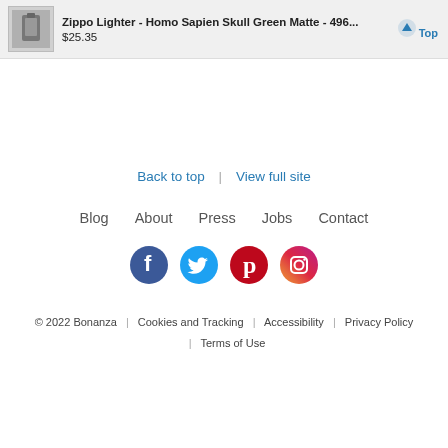Zippo Lighter - Homo Sapien Skull Green Matte - 496... $25.35
Back to top | View full site
Blog  About  Press  Jobs  Contact
[Figure (illustration): Social media icons: Facebook, Twitter, Pinterest, Instagram]
© 2022 Bonanza | Cookies and Tracking | Accessibility | Privacy Policy | Terms of Use